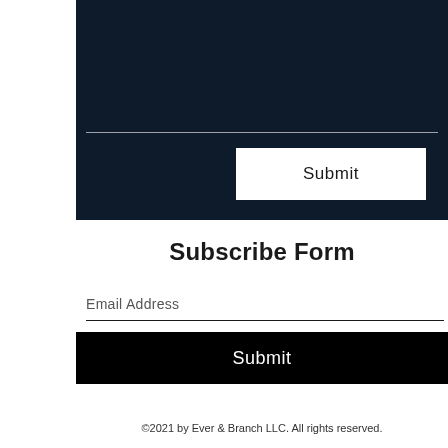[Figure (screenshot): Dark navy background section with a horizontal white divider line and a white 'Submit' button centered below the divider]
Subscribe Form
Email Address
Submit
©2021 by Ever & Branch LLC. All rights reserved.